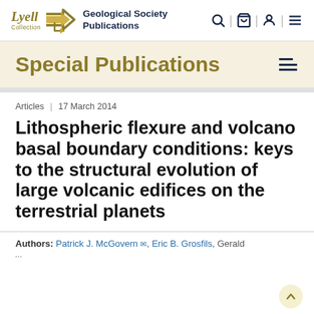Lyell Collection | Geological Society Publications
Special Publications
Articles | 17 March 2014
Lithospheric flexure and volcano basal boundary conditions: keys to the structural evolution of large volcanic edifices on the terrestrial planets
Authors: Patrick J. McGovern, Eric B. Grosfils, Gerald...